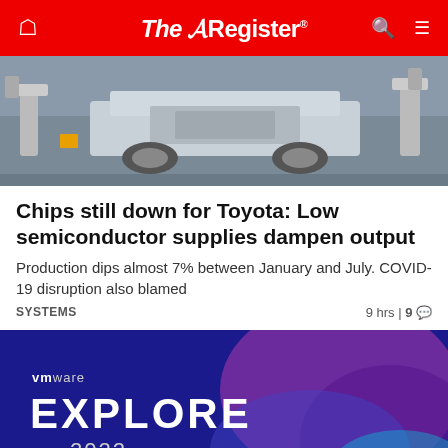The Register
[Figure (photo): Car chassis/frame on an assembly line, metallic silver, industrial factory setting]
Chips still down for Toyota: Low semiconductor supplies dampen output
Production dips almost 7% between January and July. COVID-19 disruption also blamed
SYSTEMS   9 hrs | 9 💬
[Figure (photo): VMware Explore 2022 advertisement banner with dark blue background and colorful abstract blob shapes on the right side]